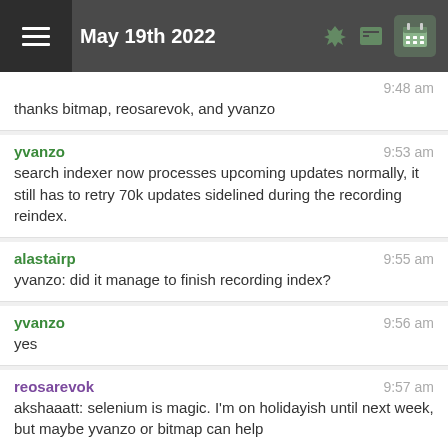May 19th 2022
thanks bitmap, reosarevok, and yvanzo — 9:48 am
yvanzo 9:53 am — search indexer now processes upcoming updates normally, it still has to retry 70k updates sidelined during the recording reindex.
alastairp 9:55 am — yvanzo: did it manage to finish recording index?
yvanzo 9:56 am — yes
reosarevok 9:57 am — akshaaatt: selenium is magic. I'm on holidayish until next week, but maybe yvanzo or bitmap can help